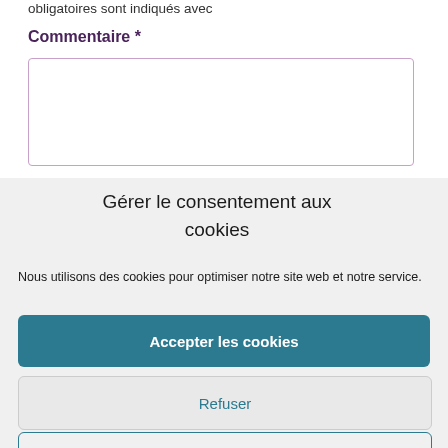obligatoires sont indiqués avec
Commentaire *
[Figure (other): Empty textarea input field with purple/pink border]
Gérer le consentement aux cookies
Nous utilisons des cookies pour optimiser notre site web et notre service.
Accepter les cookies
Refuser
Voir les préférences